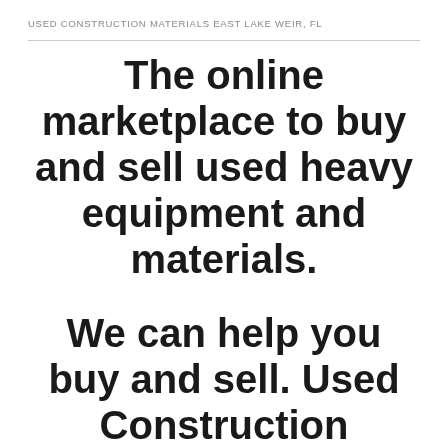USED CONSTRUCTION MATERIALS EAST LAKE WEIR, FL
The online marketplace to buy and sell used heavy equipment and materials.
We can help you buy and sell. Used Construction Materials East Lake